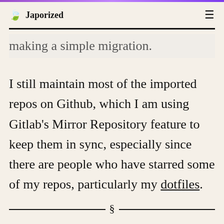Japorized
making a simple migration.
I still maintain most of the imported repos on Github, which I am using Gitlab's Mirror Repository feature to keep them in sync, especially since there are people who have starred some of my repos, particularly my dotfiles.